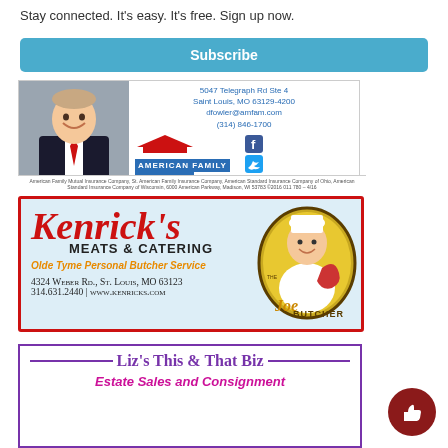Stay connected. It's easy. It's free. Sign up now.
Subscribe
[Figure (photo): American Family Insurance advertisement with agent photo, address at 5047 Telegraph Rd Ste 4, Saint Louis, MO 63129-4200, dfowler@amfam.com, (314) 846-1700, American Family Insurance logo, Facebook and Twitter icons, tagline 'All your protection under one roof']
[Figure (infographic): Kenrick's Meats & Catering advertisement. Olde Tyme Personal Butcher Service. 4324 Weber Rd., St. Louis, MO 63123. 314.631.2440 | www.kenricks.com. Joe the Butcher mascot logo on right side. Light blue background with red border.]
[Figure (infographic): Liz's This & That Biz. Estate Sales and Consignment. Purple border. BBB logo visible.]